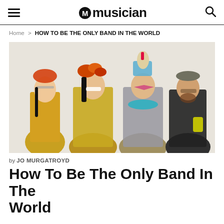Musician (logo with guitar icon)
Home > HOW TO BE THE ONLY BAND IN THE WORLD
[Figure (photo): Four band members in colorful, eclectic costumes and headdresses posing against a white background.]
by JO MURGATROYD
How To Be The Only Band In The World